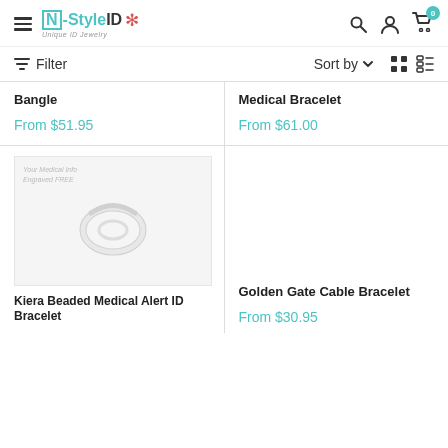N-Style ID — Unique ID Jewelry
Filter | Sort by | grid/list view icons
Bangle
From $51.95
Medical Bracelet
From $61.00
[Figure (photo): Product photo of a bangle bracelet on white background with overlay text 'Your Medical Info Engraved FREE']
Kiera Beaded Medical Alert ID Bracelet
Golden Gate Cable Bracelet
From $30.95